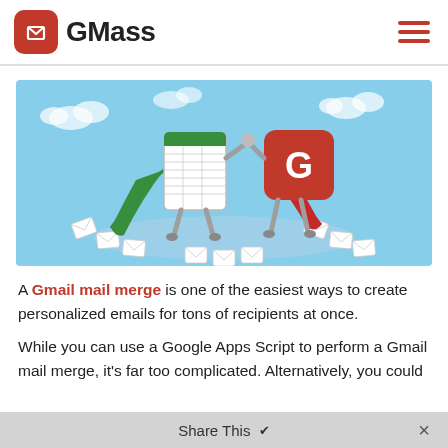GMass
[Figure (illustration): Two cartoon superhero characters holding hands and flying in a circle of envelopes against a light blue sky. The left character is a white spreadsheet/document with a green cape, and the right character is a red rounded square with the GMass logo and a red cape.]
A Gmail mail merge is one of the easiest ways to create personalized emails for tons of recipients at once.
While you can use a Google Apps Script to perform a Gmail mail merge, it's far too complicated. Alternatively, you could